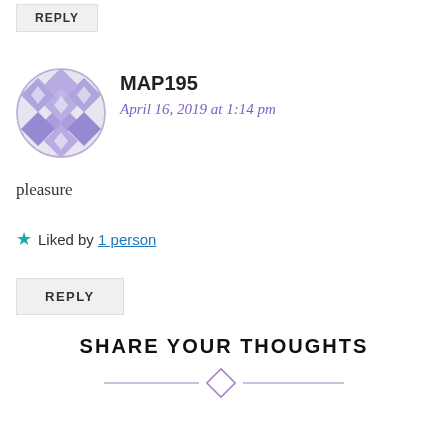REPLY
[Figure (illustration): Circular avatar with blue/purple geometric diamond quilt pattern]
MAP195
April 16, 2019 at 1:14 pm
pleasure
★ Liked by 1 person
REPLY
SHARE YOUR THOUGHTS